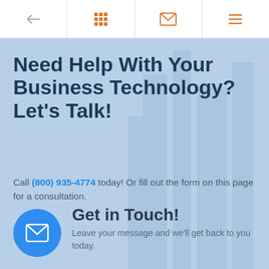← [grid icon] [mail icon] [menu icon]
Need Help With Your Business Technology? Let's Talk!
Call (800) 935-4774 today! Or fill out the form on this page for a consultation.
Get in Touch!
Leave your message and we'll get back to you today.